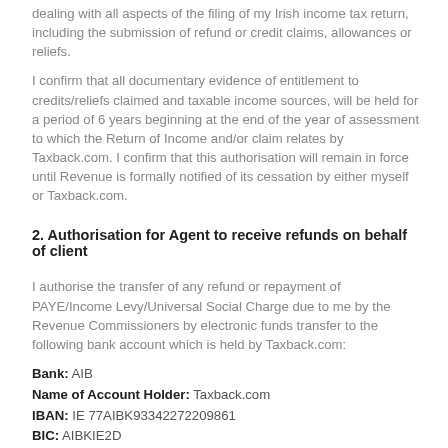dealing with all aspects of the filing of my Irish income tax return, including the submission of refund or credit claims, allowances or reliefs.
I confirm that all documentary evidence of entitlement to credits/reliefs claimed and taxable income sources, will be held for a period of 6 years beginning at the end of the year of assessment to which the Return of Income and/or claim relates by Taxback.com. I confirm that this authorisation will remain in force until Revenue is formally notified of its cessation by either myself or Taxback.com.
2. Authorisation for Agent to receive refunds on behalf of client
I authorise the transfer of any refund or repayment of PAYE/Income Levy/Universal Social Charge due to me by the Revenue Commissioners by electronic funds transfer to the following bank account which is held by Taxback.com:
Bank: AIB
Name of Account Holder: Taxback.com
IBAN: IE 77AIBK93342272209861
BIC: AIBKIE2D
I understand that any refund made by the Revenue